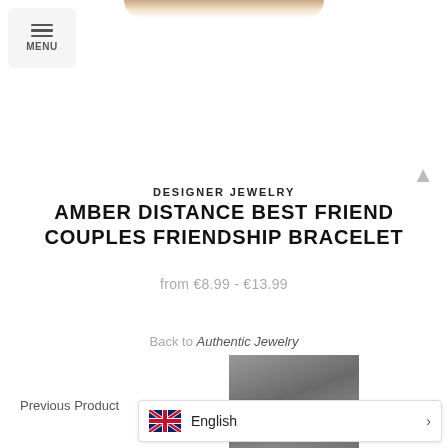[Figure (photo): Partial top of product image (bracelet) cropped at top of page]
[Figure (screenshot): Menu button with hamburger icon and MENU text label]
DESIGNER JEWELRY
AMBER DISTANCE BEST FRIEND COUPLES FRIENDSHIP BRACELET
from €8.99 - €13.99
Back to Authentic Jewelry
Previous Product
[Figure (photo): Thumbnail of previous product showing a person in dark clothing on grey background]
[Figure (screenshot): Language selector bar showing UK flag and English label with right arrow]